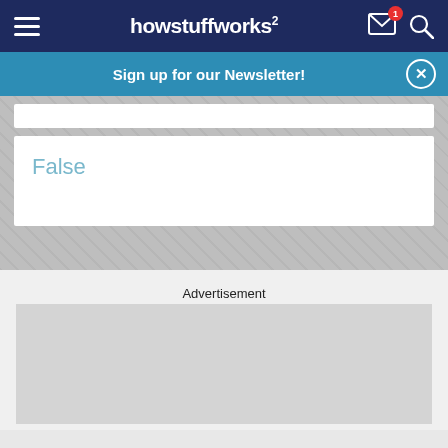howstuffworks
Sign up for our Newsletter!
False
Advertisement
[Figure (other): Empty advertisement placeholder box with light gray background]